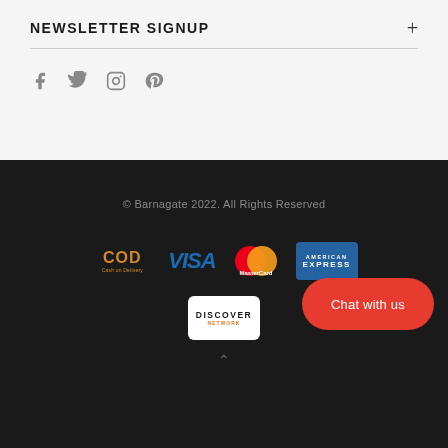NEWSLETTER SIGNUP
[Figure (infographic): Social media icons: Facebook, Twitter, Instagram, Pinterest]
© Barnagate 2022. All Rights Reserved
[Figure (logo): Payment method logos: COD (Cash on Delivery), VISA, MasterCard, American Express, Discover Network]
[Figure (other): Chat with us button (red rounded rectangle)]